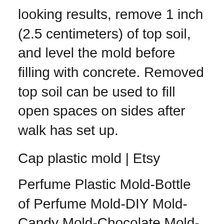looking results, remove 1 inch (2.5 centimeters) of top soil, and level the mold before filling with concrete. Removed top soil can be used to fill open spaces on sides after walk has set up.
Cap plastic mold | Etsy
Perfume Plastic Mold-Bottle of Perfume Mold-DIY Mold-Candy Mold-Chocolate Mold-Soap Mold-Bath Bomb Mold-Craft Mold-Plastic Mold. WowMolds. 5 out of 5 stars. (72) $7.95. Only 1 available and it's in 7 people's carts. Add to Favorites.
plastic cube furniture, plastic cube furniture Suppliers and ...
About product and suppliers: 9,800 plastic cube furniture products are offered for sale by suppliers on Alibaba.com, of which wardrobes accounts for 23%, bar chairs accounts for 12%, and other living